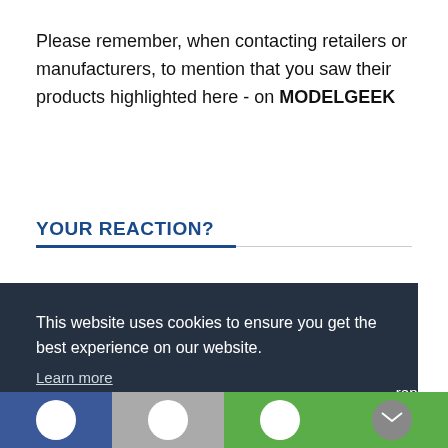Please remember, when contacting retailers or manufacturers, to mention that you saw their products highlighted here - on MODELGEEK
YOUR REACTION?
This website uses cookies to ensure you get the best experience on our website.
Learn more
I Understand
replies